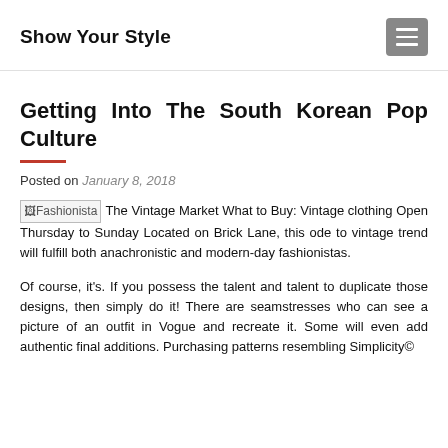Show Your Style
Getting Into The South Korean Pop Culture
Posted on January 8, 2018
[Fashionista image] The Vintage Market What to Buy: Vintage clothing Open Thursday to Sunday Located on Brick Lane, this ode to vintage trend will fulfill both anachronistic and modern-day fashionistas.
Of course, it's. If you possess the talent and talent to duplicate those designs, then simply do it! There are seamstresses who can see a picture of an outfit in Vogue and recreate it. Some will even add authentic final additions. Purchasing patterns resembling Simplicity©